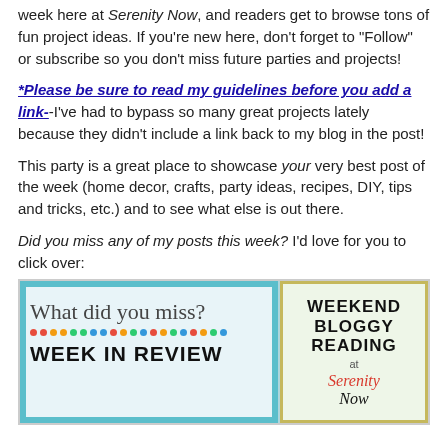week here at Serenity Now, and readers get to browse tons of fun project ideas. If you're new here, don't forget to "Follow" or subscribe so you don't miss future parties and projects!
*Please be sure to read my guidelines before you add a link--I've had to bypass so many great projects lately because they didn't include a link back to my blog in the post!
This party is a great place to showcase your very best post of the week (home decor, crafts, party ideas, recipes, DIY, tips and tricks, etc.) and to see what else is out there.
Did you miss any of my posts this week? I'd love for you to click over:
[Figure (illustration): Two side-by-side banner images: left shows 'What did you miss? WEEK IN REVIEW' with colorful dots on a teal-bordered background; right shows 'WEEKEND BLOGGY READING at Serenity Now' in a yellow-bordered box.]